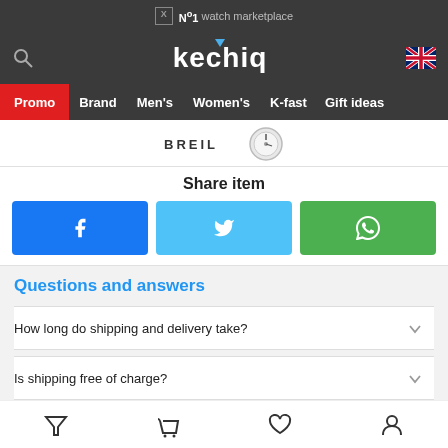№1 watch marketplace
[Figure (logo): Kechiq logo with navigation: Promo, Brand, Men's, Women's, K-fast, Gift ideas]
[Figure (photo): BREIL brand label with partial watch image]
Share item
[Figure (infographic): Three share buttons: Facebook (blue), Twitter (light blue), WhatsApp (green)]
Questions and answers
How long do shipping and delivery take?
Is shipping free of charge?
Bottom navigation icons: filter, cart, wishlist, account